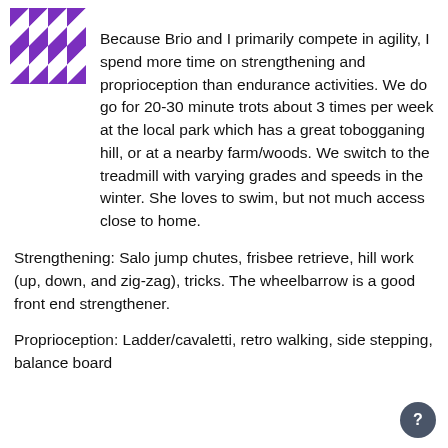[Figure (logo): Purple and white geometric/quilt pattern logo in top left corner]
Because Brio and I primarily compete in agility, I spend more time on strengthening and proprioception than endurance activities. We do go for 20-30 minute trots about 3 times per week at the local park which has a great tobogganing hill, or at a nearby farm/woods. We switch to the treadmill with varying grades and speeds in the winter. She loves to swim, but not much access close to home.
Strengthening: Salo jump chutes, frisbee retrieve, hill work (up, down, and zig-zag), tricks. The wheelbarrow is a good front end strengthener.
Proprioception: Ladder/cavaletti, retro walking, side stepping, balance board